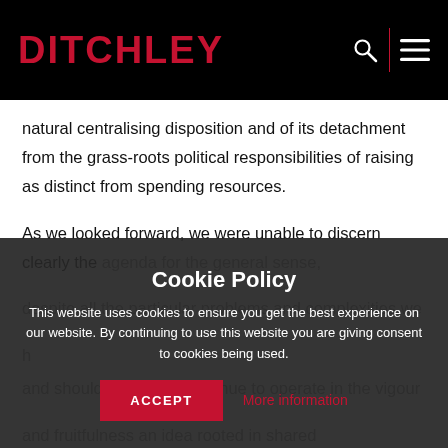DITCHLEY
natural centralising disposition and of its detachment from the grass-roots political responsibilities of raising as distinct from spending resources.

As we looked forward, we were unable to discern clearly the agenda for the … general sense, despite all the particular problems and complexities we … and should be able to continue to operate in the vigour and fruitfulness … an idea rooted in shared values of democracy and of respect for the rights of
Cookie Policy
This website uses cookies to ensure you get the best experience on our website. By continuing to use this website you are giving consent to cookies being used.
ACCEPT
More information